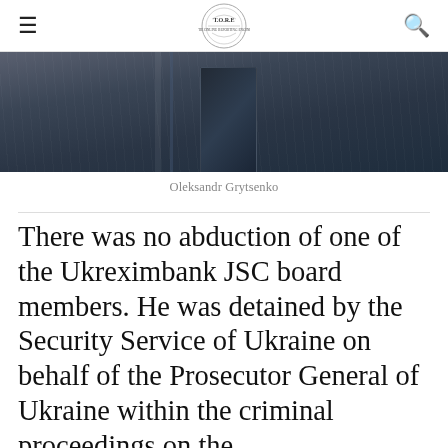T.O.R.E (logo) — navigation header with menu and search icons
[Figure (photo): Close-up photo of a person wearing a dark pinstripe suit and tie, cropped to show torso/chest area]
Oleksandr Grytsenko
There was no abduction of one of the Ukreximbank JSC board members. He was detained by the Security Service of Ukraine on behalf of the Prosecutor General of Ukraine within the criminal proceedings on the